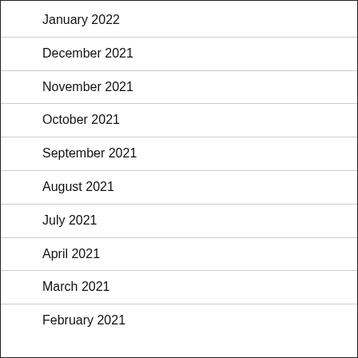January 2022
December 2021
November 2021
October 2021
September 2021
August 2021
July 2021
April 2021
March 2021
February 2021